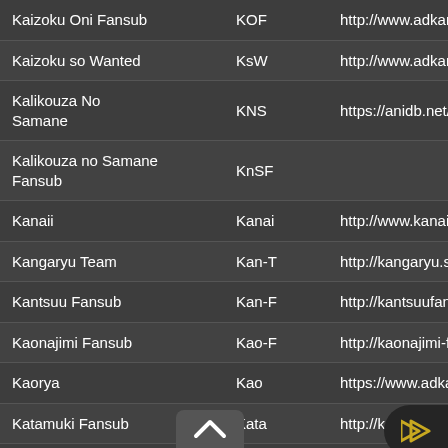| Name | Abbr | URL |
| --- | --- | --- |
| Kaizoku Oni Fansub | KOF | http://www.adkami.com/tea |
| Kaizoku so Wanted | KsW | http://www.adkami.com/tea |
| Kalikouza No Samane | KNS | https://anidb.net/perl-bin/an |
| Kalikouza no Samane Fansub | KnSF |  |
| Kanaii | Kanai | http://www.kanaii.fr/news.p |
| Kangaryu Team | Kan-T | http://kangaryu.scantrad.fre |
| Kantsuu Fansub | Kan-F | http://kantsuufansub.over-b |
| Kaonajimi Fansub | Kao-F | http://kaonajimi-fansub.blog |
| Kaorya | Kao | https://www.adkami.com/tea |
| Katamuki Fansub | Kata | http://katamuki.free.fr |
| Kawaii Neko Team | KaNT | http://kawaiinekoteam.ek.la |
| Kawaii-Project Fansub | K-PF | http://www.jrcb.be/index.htm |